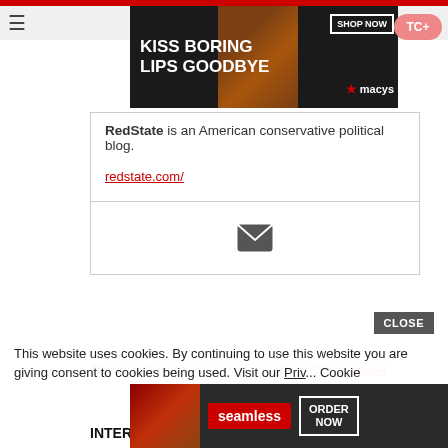[Figure (screenshot): Top banner advertisement for Macy's: 'KISS BORING LIPS GOODBYE' with SHOP NOW button and Macy's star logo]
RedState is an American conservative political blog.
redstate.com/
[Figure (other): Email/envelope icon in a bordered box]
Tags: baby formula   Joe Biden   Media   White House
<
INTERESTING FOR YOU
[Figure (other): Adskeeper logo/badge]
[Figure (photo): Green landscape/nature photograph preview]
This website uses cookies. By continuing to use this website you are giving consent to cookies being used. Visit our Priv... Cookie
[Figure (screenshot): Seamless food delivery advertisement: ORDER NOW button with pizza image]